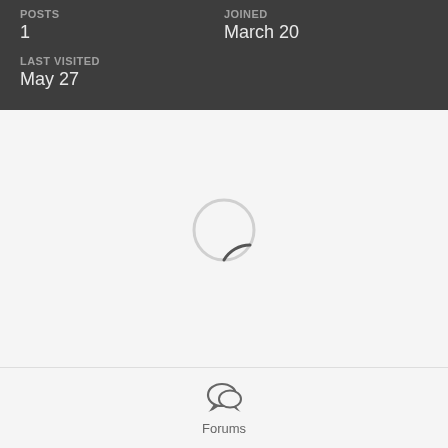POSTS
1
JOINED
March 20
LAST VISITED
May 27
[Figure (other): Loading spinner — a circular arc/spinner icon indicating content is loading, light gray circle outline with a dark gray arc at the bottom-right]
[Figure (other): Forums icon — a speech bubble chat icon in gray]
Forums